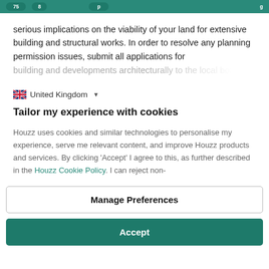Navigation bar with teal/green background and pills
serious implications on the viability of your land for extensive building and structural works. In order to resolve any planning permission issues, submit all applications for building and...
United Kingdom
Tailor my experience with cookies
Houzz uses cookies and similar technologies to personalise my experience, serve me relevant content, and improve Houzz products and services. By clicking 'Accept' I agree to this, as further described in the Houzz Cookie Policy. I can reject non-
Manage Preferences
Accept